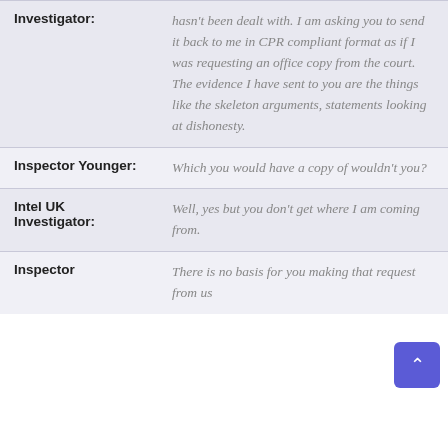| Speaker | Speech |
| --- | --- |
| Investigator: | hasn't been dealt with. I am asking you to send it back to me in CPR compliant format as if I was requesting an office copy from the court. The evidence I have sent to you are the things like the skeleton arguments, statements looking at dishonesty. |
| Inspector Younger: | Which you would have a copy of wouldn't you? |
| Intel UK Investigator: | Well, yes but you don't get where I am coming from. |
| Inspector | There is no basis for you making that request from us |